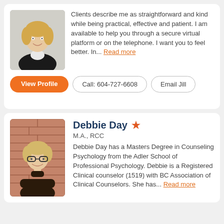[Figure (photo): Professional headshot of a woman with blonde hair wearing a black blazer, smiling]
Clients describe me as straightforward and kind while being practical, effective and patient. I am available to help you through a secure virtual platform or on the telephone. I want you to feel better. In... Read more
View Profile
Call: 604-727-6608
Email Jill
[Figure (photo): Photo of a woman with blonde hair and glasses wearing a dark turtleneck, arms crossed, standing in front of a brick wall]
Debbie Day M.A., RCC
Debbie Day has a Masters Degree in Counseling Psychology from the Adler School of Professional Psychology. Debbie is a Registered Clinical counselor (1519) with BC Association of Clinical Counselors. She has... Read more